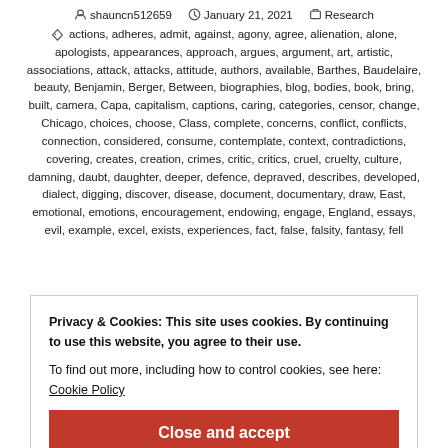shauncn512659   January 21, 2021   Research
actions, adheres, admit, against, agony, agree, alienation, alone, apologists, appearances, approach, argues, argument, art, artistic, associations, attack, attacks, attitude, authors, available, Barthes, Baudelaire, beauty, Benjamin, Berger, Between, biographies, blog, bodies, book, bring, built, camera, Capa, capitalism, captions, caring, categories, censor, change, Chicago, choices, choose, Class, complete, concerns, conflict, conflicts, connection, considered, consume, contemplate, context, contradictions, covering, creates, creation, crimes, critic, critics, cruel, cruelty, culture, damning, daubt, daughter, deeper, defence, depraved, describes, developed, dialect, digging, discover, disease, document, documentary, draw, East, emotional, emotions, encouragement, endowing, engage, England, essays, evil, example, excel, exists, experiences, fact, false, falsity, fantasy, fell
Privacy & Cookies: This site uses cookies. By continuing to use this website, you agree to their use.
To find out more, including how to control cookies, see here:
Cookie Policy
Close and accept
New, New York, notes, offer, opinion, order, original, otherness, others,